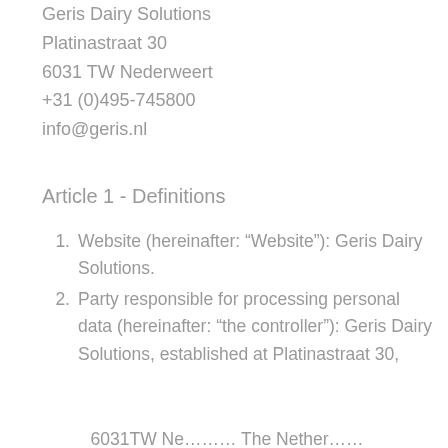Geris Dairy Solutions
Platinastraat 30
6031 TW Nederweert
+31 (0)495-745800
info@geris.nl
Article 1 - Definitions
Website (hereinafter: “Website”): Geris Dairy Solutions.
Party responsible for processing personal data (hereinafter: “the controller”): Geris Dairy Solutions, established at Platinastraat 30,
6031TW Ne... The Nether...